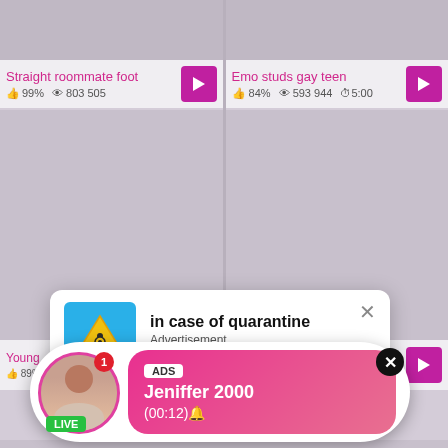Straight roommate foot | 99% | 803 505
Emo studs gay teen | 84% | 593 944 | 5:00
[Figure (screenshot): Two adult video thumbnails (gray placeholders) in top row]
[Figure (screenshot): Two adult video thumbnails (gray placeholders) in middle row with partial titles visible]
Young | 89%
[Figure (infographic): Quarantine advertisement popup with biohazard icon saying 'in case of quarantine / Advertisement / tap here to view' with X close button]
[Figure (infographic): Live notification popup with avatar, LIVE badge, ADS label, name Jeniffer 2000, time (00:12), pink gradient background, X close button]